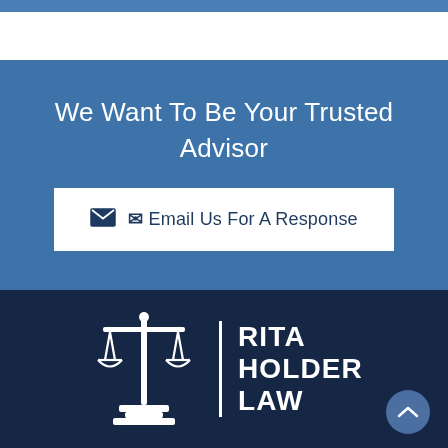We Want To Be Your Trusted Advisor
Email Us For A Response
[Figure (logo): Rita Holder Law logo with scales of justice icon and text RITA HOLDER LAW on dark navy background]